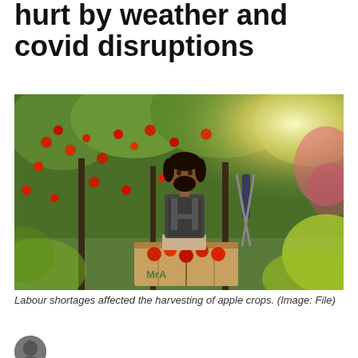hurt by weather and covid disruptions
[Figure (photo): A worker sitting on a large wooden crate filled with red apples in an apple orchard. Green trees laden with red apples surround him. Another person is visible in the background with a ladder. Bright sunlight and lens flare visible on the right side.]
Labour shortages affected the harvesting of apple crops. (Image: File)